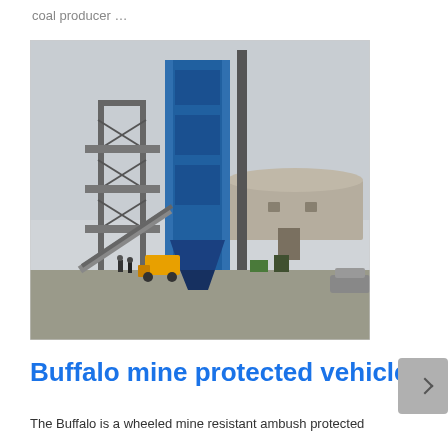coal producer …
[Figure (photo): Industrial coal processing facility with tall blue steel tower structure, conveyor systems, and a round concrete building. Hazy sky in background, some vehicles and workers visible on ground level.]
Buffalo mine protected vehicle
The Buffalo is a wheeled mine resistant ambush protected